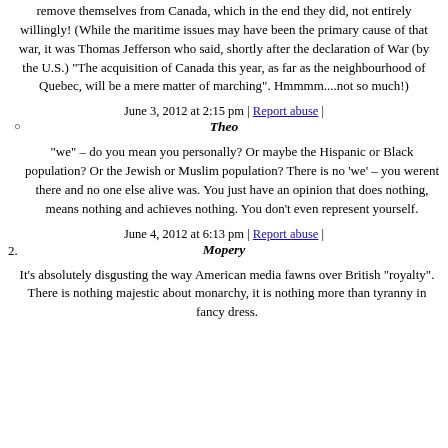remove themselves from Canada, which in the end they did, not entirely willingly! (While the maritime issues may have been the primary cause of that war, it was Thomas Jefferson who said, shortly after the declaration of War (by the U.S.) "The acquisition of Canada this year, as far as the neighbourhood of Quebec, will be a mere matter of marching". Hmmmm....not so much!)
June 3, 2012 at 2:15 pm | Report abuse |
Theo
"we" – do you mean you personally? Or maybe the Hispanic or Black population? Or the Jewish or Muslim population? There is no 'we' – you werent there and no one else alive was. You just have an opinion that does nothing, means nothing and achieves nothing. You don't even represent yourself.
June 4, 2012 at 6:13 pm | Report abuse |
Mopery
It's absolutely disgusting the way American media fawns over British "royalty". There is nothing majestic about monarchy, it is nothing more than tyranny in fancy dress.